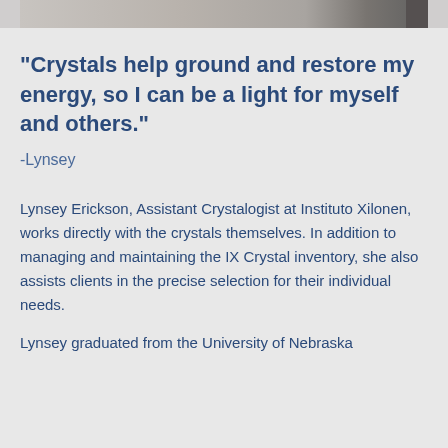[Figure (photo): Partial photo strip at top of page, cropped view]
"Crystals help ground and restore my energy, so I can be a light for myself and others."
-Lynsey
Lynsey Erickson, Assistant Crystalogist at Instituto Xilonen, works directly with the crystals themselves. In addition to managing and maintaining the IX Crystal inventory, she also assists clients in the precise selection for their individual needs.
Lynsey graduated from the University of Nebraska